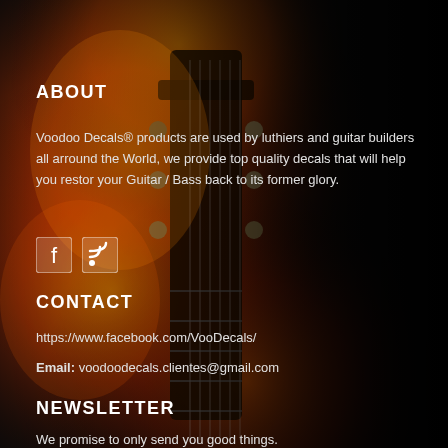[Figure (photo): Dark background with a guitar headstock engulfed in orange flames on the left side, fading to black on the right.]
ABOUT
Voodoo Decals® products are used by luthiers and guitar builders all arround the World, we provide top quality decals that will help you restor your Guitar / Bass back to its former glory.
[Figure (other): Facebook and RSS social media icons]
CONTACT
https://www.facebook.com/VooDecals/
Email: voodoodecals.clientes@gmail.com
NEWSLETTER
We promise to only send you good things.